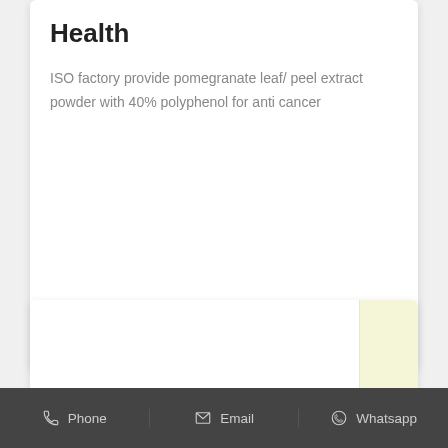Health
ISO factory provide pomegranate leaf/ peel extract powder with 40% polyphenol for anti cancer
[Figure (other): Red rounded rectangle button with white text reading 'Get Price']
[Figure (other): White card with a light yellow block on the right side, partially visible]
Phone   Email   Whatsapp